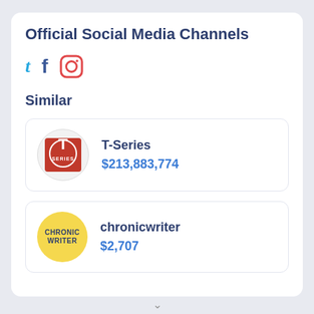Official Social Media Channels
[Figure (infographic): Social media icons: Twitter (t), Facebook (f), Instagram (camera icon)]
Similar
T-Series
$213,883,774
chronicwriter
$2,707